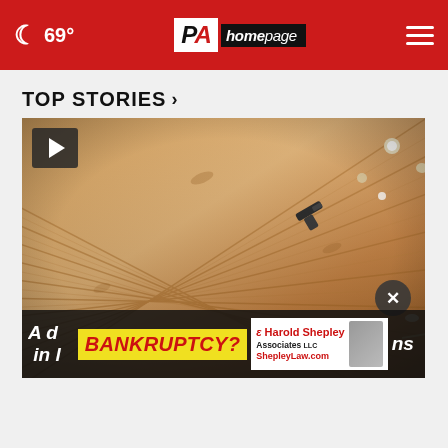🌙 69° | PA Homepage | ≡
TOP STORIES ›
[Figure (screenshot): Video thumbnail showing a wood-plank ceiling interior with recessed lights and a mounted camera/gun, with a play button overlay in upper left corner and a close button overlay]
A d… ins in l… BANKRUPTCY? Harold Shepley Associates LLC ShepleyLaw.com